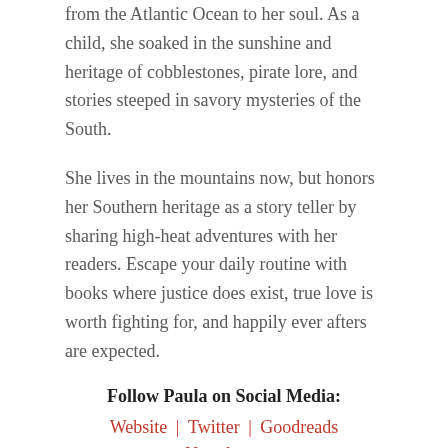from the Atlantic Ocean to her soul. As a child, she soaked in the sunshine and heritage of cobblestones, pirate lore, and stories steeped in savory mysteries of the South.
She lives in the mountains now, but honors her Southern heritage as a story teller by sharing high-heat adventures with her readers. Escape your daily routine with books where justice does exist, true love is worth fighting for, and happily ever afters are expected.
Follow Paula on Social Media: Website | Twitter | Goodreads Newsletter Facebook (author) | Facebook (fans) Instagram | Pinterest | YouTube